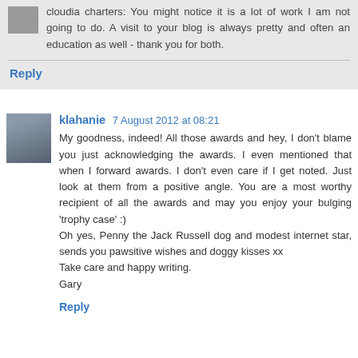cloudia charters: You might notice it is a lot of work I am not going to do. A visit to your blog is always pretty and often an education as well - thank you for both.
Reply
klahanie 7 August 2012 at 08:21
My goodness, indeed! All those awards and hey, I don't blame you just acknowledging the awards. I even mentioned that when I forward awards. I don't even care if I get noted. Just look at them from a positive angle. You are a most worthy recipient of all the awards and may you enjoy your bulging 'trophy case' :)
Oh yes, Penny the Jack Russell dog and modest internet star, sends you pawsitive wishes and doggy kisses xx
Take care and happy writing.
Gary
Reply